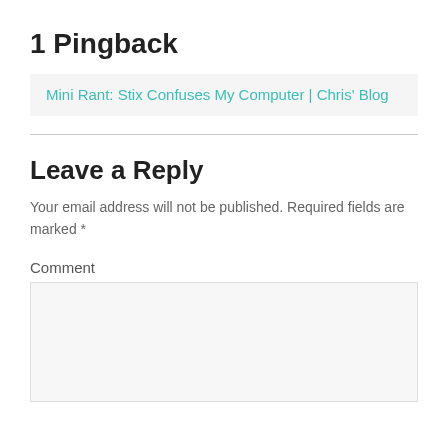1 Pingback
Mini Rant: Stix Confuses My Computer | Chris' Blog
Leave a Reply
Your email address will not be published. Required fields are marked *
Comment